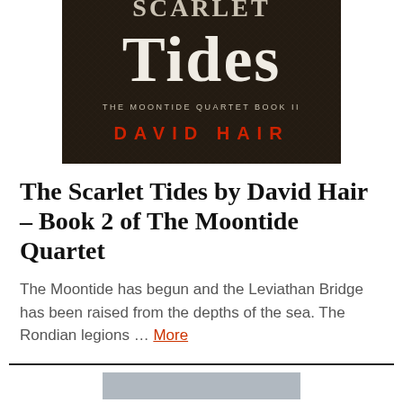[Figure (illustration): Book cover for 'The Scarlet Tides' – The Moontide Quartet Book II by David Hair. Dark textured background with large white serif title text 'Scarlet Tides', subtitle 'THE MOONTIDE QUARTET BOOK II' in white, and author name 'DAVID HAIR' in red.]
The Scarlet Tides by David Hair – Book 2 of The Moontide Quartet
The Moontide has begun and the Leviathan Bridge has been raised from the depths of the sea. The Rondian legions … More